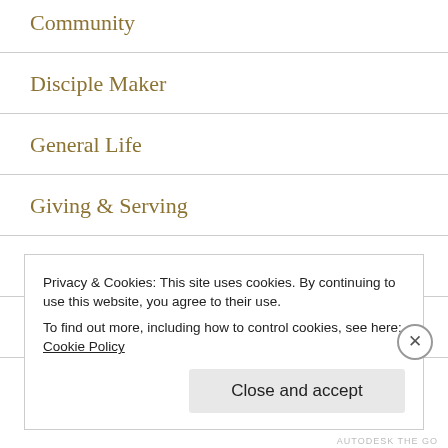Community
Disciple Maker
General Life
Giving & Serving
Obedient Follower
PC
Privacy & Cookies: This site uses cookies. By continuing to use this website, you agree to their use.
To find out more, including how to control cookies, see here: Cookie Policy
Close and accept